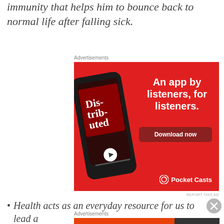immunity that helps him to bounce back to normal life after falling sick.
[Figure (illustration): Pocket Casts advertisement on red background showing a smartphone with the 'Distributed' podcast playing, text reads 'An app by listeners, for listeners.' with a 'Download now' button and Pocket Casts logo]
Health acts as an everyday resource for us to lead a
[Figure (illustration): DuckDuckGo advertisement with orange background: 'Search, browse, and email with more privacy. All in One Free App' with DuckDuckGo logo on right side]